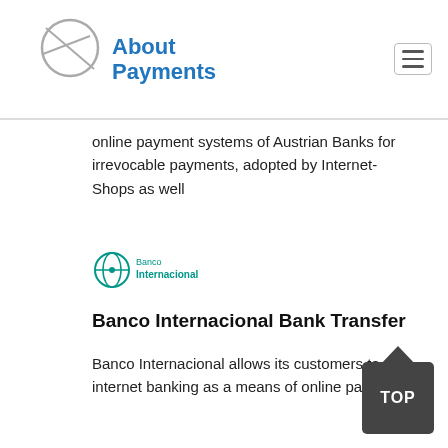About Payments
online payment systems of Austrian Banks for irrevocable payments, adopted by Internet-Shops as well
[Figure (logo): Banco Internacional logo — globe/cross icon in teal with 'Banco Internacional' text in teal]
Banco Internacional Bank Transfer
Banco Internacional allows its customers to use internet banking as a means of online payment.